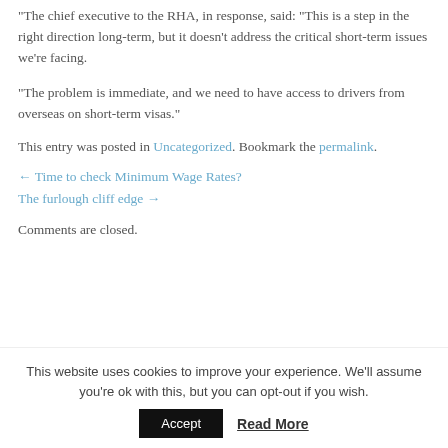“The chief executive to the RHA, in response, said: “This is a step in the right direction long-term, but it doesn’t address the critical short-term issues we’re facing.
“The problem is immediate, and we need to have access to drivers from overseas on short-term visas.”
This entry was posted in Uncategorized. Bookmark the permalink.
← Time to check Minimum Wage Rates?
The furlough cliff edge →
Comments are closed.
Latest News
This website uses cookies to improve your experience. We’ll assume you’re ok with this, but you can opt-out if you wish.